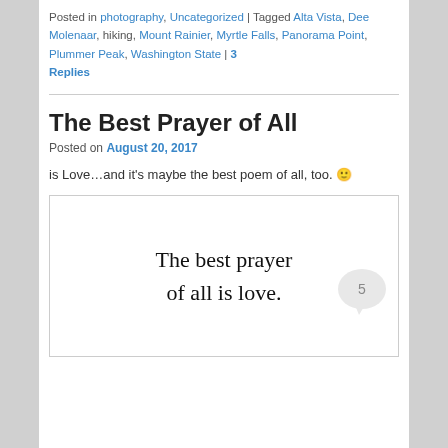Posted in photography, Uncategorized | Tagged Alta Vista, Dee Molenaar, hiking, Mount Rainier, Myrtle Falls, Panorama Point, Plummer Peak, Washington State | 3 Replies
The Best Prayer of All
Posted on August 20, 2017
is Love…and it's maybe the best poem of all, too. 🙂
[Figure (illustration): Text image showing the words 'The best prayer of all is love.' in large serif font on white background]